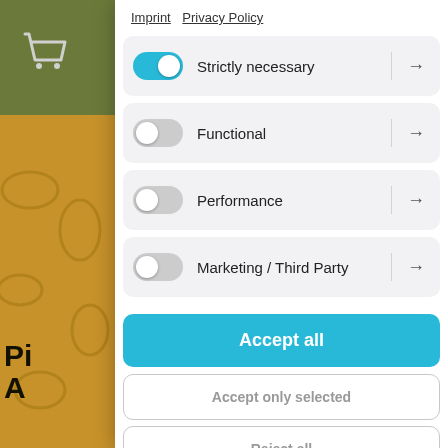[Figure (screenshot): Website background with olive/green top-left, golden/amber middle, and gray bottom-left sections. Cart icon top-left. Partial text 'Pi A' and 'Und Lea Ide' visible on left side.]
Imprint   Privacy Policy
Strictly necessary (toggle on, arrow right)
Functional (toggle off, arrow right)
Performance (toggle off, arrow right)
Marketing / Third Party (toggle off, arrow right)
Accept all
Accept only selected
Reject all